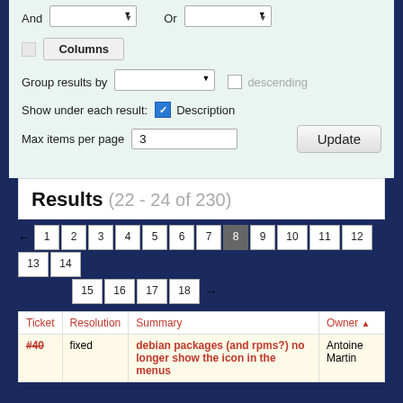[Figure (screenshot): Filter form area with And/Or dropdowns, Columns button, Group results by dropdown with descending checkbox, Show under each result with Description checkbox, Max items per page field with value 3, and Update button]
Results (22 - 24 of 230)
[Figure (screenshot): Pagination with arrow back, pages 1-14 on first row, pages 15-18 and arrow forward on second row, page 8 highlighted]
| Ticket | Resolution | Summary | Owner ↑ |
| --- | --- | --- | --- |
| #40 | fixed | debian packages (and rpms?) no longer show the icon in the menus | Antoine Martin |